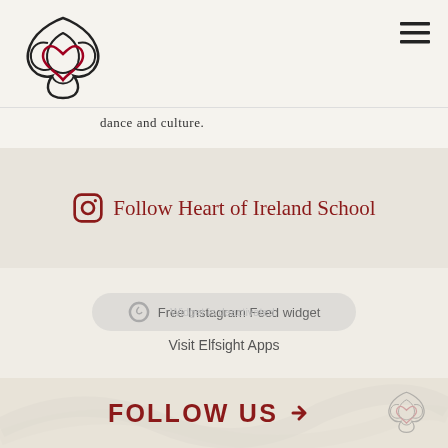Heart of Ireland School logo and navigation
dance and culture.
Follow Heart of Ireland School
[Figure (screenshot): Free Instagram Feed widget — Widget is deactivated. Visit Elfsight Apps]
FOLLOW US >